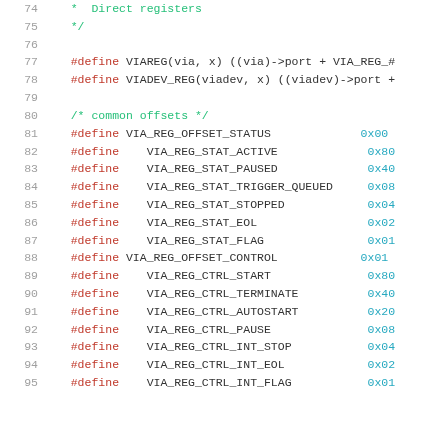[Figure (screenshot): Source code listing showing C preprocessor #define macros for VIA register offsets and control bits, with line numbers 74-95 visible. Line numbers in gray, #define keywords in red, hex values in teal/cyan, and comments in green.]